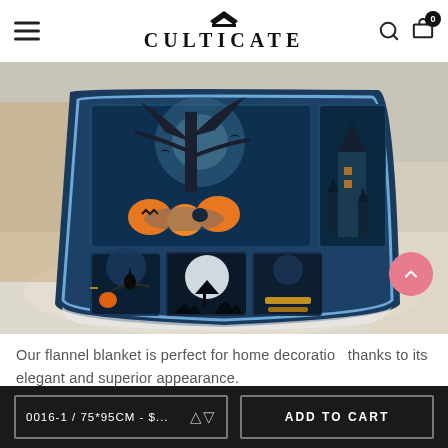CULTICATE
[Figure (photo): Halloween flannel blanket laid on a bedroom floor showing multiple Halloween scenes: pumpkins with a black cat, haunted house, witch on broomstick, silhouettes against full moon, and Halloween text panels. Blue/teal color theme.]
Our flannel blanket is perfect for home decoration thanks to its elegant and superior appearance.
0016-1 / 75*95CM - $...
ADD TO CART